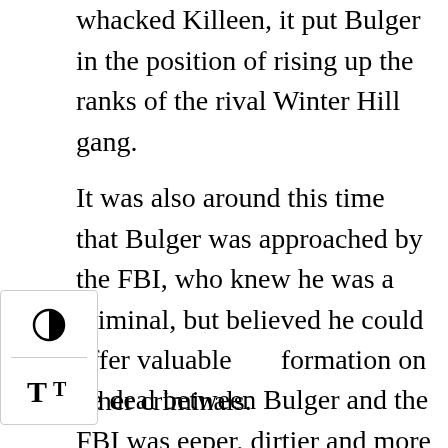whacked Killeen, it put Bulger in the position of rising up the ranks of the rival Winter Hill gang.
It was also around this time that Bulger was approached by the FBI, who knew he was a criminal, but believed he could offer valuable information on other criminals.
The deal between Bulger and the FBI was deeper, dirtier and more personal than anyone had imagined and it was a deal that was sealed one moonlit night in 1975 between two sons of Southie, Bulger and a young FBI agent named John Connolly,” Lehr and O’Neill write in Black Mass.